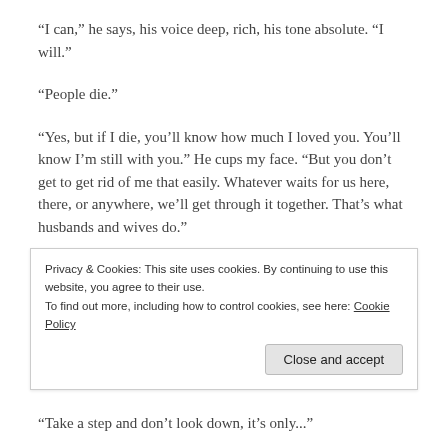“I can,” he says, his voice deep, rich, his tone absolute. “I will.”
“People die.”
“Yes, but if I die, you’ll know how much I loved you. You’ll know I’m still with you.” He cups my face. “But you don’t get to get rid of me that easily. Whatever waits for us here, there, or anywhere, we’ll get through it together. That’s what husbands and wives do.”
Warmth and calm wash over me. “Husband,” I whisper
Privacy & Cookies: This site uses cookies. By continuing to use this website, you agree to their use.
To find out more, including how to control cookies, see here: Cookie Policy
“Take a step and don’t look down, it’s only...